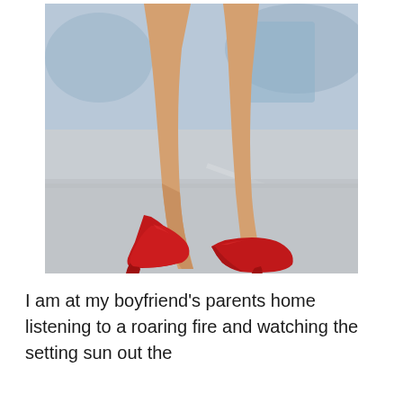[Figure (photo): Close-up photograph of a woman's legs walking in red high-heel pumps on a light gray floor, with a blurred background.]
I am at my boyfriend's parents home listening to a roaring fire and watching the setting sun out the